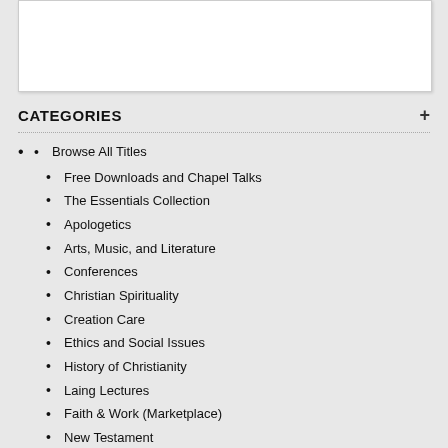CATEGORIES
Browse All Titles
Free Downloads and Chapel Talks
The Essentials Collection
Apologetics
Arts, Music, and Literature
Conferences
Christian Spirituality
Creation Care
Ethics and Social Issues
History of Christianity
Laing Lectures
Faith & Work (Marketplace)
New Testament
Old Testament
Preaching, Worship, & Pastoral Life
Philosophy
Public Lectures
Science and Faith
Theology
World Christianity